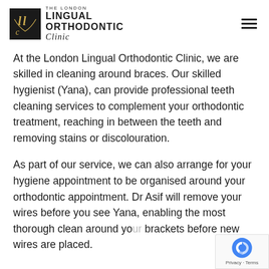THE LONDON LINGUAL ORTHODONTIC Clinic
At the London Lingual Orthodontic Clinic, we are skilled in cleaning around braces. Our skilled hygienist (Yana), can provide professional teeth cleaning services to complement your orthodontic treatment, reaching in between the teeth and removing stains or discolouration.
As part of our service, we can also arrange for your hygiene appointment to be organised around your orthodontic appointment. Dr Asif will remove your wires before you see Yana, enabling the most thorough clean around your brackets before new wires are placed.